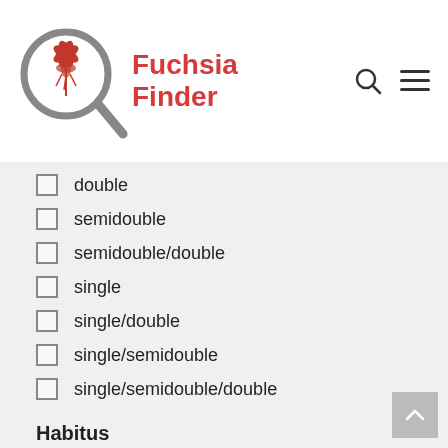[Figure (logo): Fuchsia Finder logo with a red fuchsia flower inside a magnifying glass and red bold text 'Fuchsia Finder']
double
semidouble
semidouble/double
single
single/double
single/semidouble
single/semidouble/double
Habitus
None
trailing
upright
tags